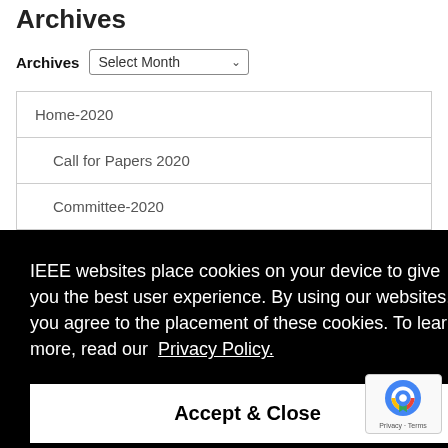Archives
Archives  Select Month
Home-2020
Call for Papers 2020
Committee-2020
IEEE websites place cookies on your device to give you the best user experience. By using our websites, you agree to the placement of these cookies. To learn more, read our  Privacy Policy.
Accept & Close